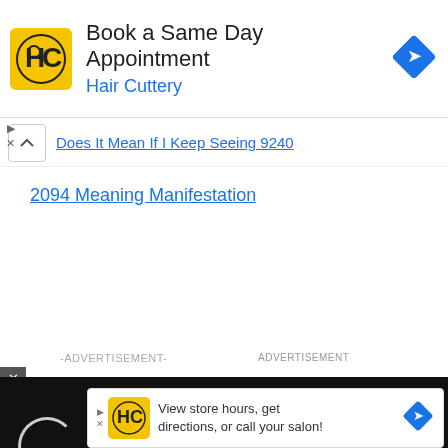[Figure (screenshot): Hair Cuttery advertisement banner: logo, 'Book a Same Day Appointment', 'Hair Cuttery' subtitle, navigation arrow icon]
Does It Mean If I Keep Seeing 9240
2094 Meaning Manifestation
-ADVERTISEMENT-
ADVERTISEMENT
[Figure (screenshot): Dark video panel with loading circle icon and text 'How To Open 7 Chakras - Meditation and Healing - SunSigns.Org']
[Figure (screenshot): Hair Cuttery advertisement banner at bottom: logo, 'View store hours, get directions, or call your salon!']